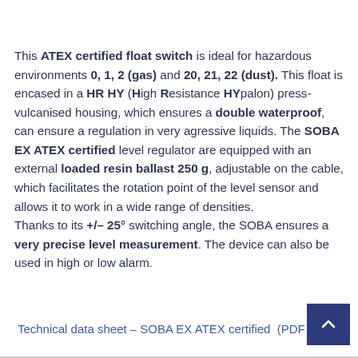This ATEX certified float switch is ideal for hazardous environments 0, 1, 2 (gas) and 20, 21, 22 (dust). This float is encased in a HR HY (High Resistance HYpalon) press-vulcanised housing, which ensures a double waterproof, can ensure a regulation in very agressive liquids. The SOBA EX ATEX certified level regulator are equipped with an external loaded resin ballast 250 g, adjustable on the cable, which facilitates the rotation point of the level sensor and allows it to work in a wide range of densities. Thanks to its +/– 25° switching angle, the SOBA ensures a very precise level measurement. The device can also be used in high or low alarm.
Technical data sheet – SOBA EX ATEX certified (PDF…)